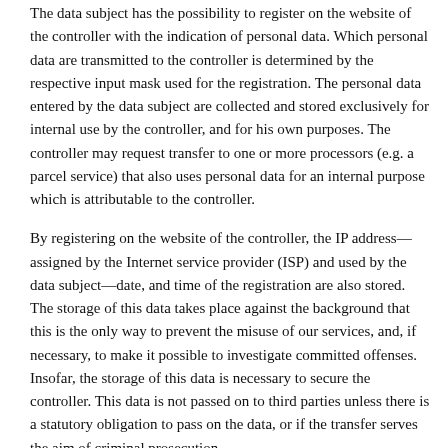The data subject has the possibility to register on the website of the controller with the indication of personal data. Which personal data are transmitted to the controller is determined by the respective input mask used for the registration. The personal data entered by the data subject are collected and stored exclusively for internal use by the controller, and for his own purposes. The controller may request transfer to one or more processors (e.g. a parcel service) that also uses personal data for an internal purpose which is attributable to the controller.
By registering on the website of the controller, the IP address—assigned by the Internet service provider (ISP) and used by the data subject—date, and time of the registration are also stored. The storage of this data takes place against the background that this is the only way to prevent the misuse of our services, and, if necessary, to make it possible to investigate committed offenses. Insofar, the storage of this data is necessary to secure the controller. This data is not passed on to third parties unless there is a statutory obligation to pass on the data, or if the transfer serves the aim of criminal prosecution.
The registration of the data subject, with the voluntary indication of personal data, is intended to enable the controller to offer the data subject contents or services that may only be offered to registered users due to the nature of the matter in question. Registered persons are free to change the personal data specified during the